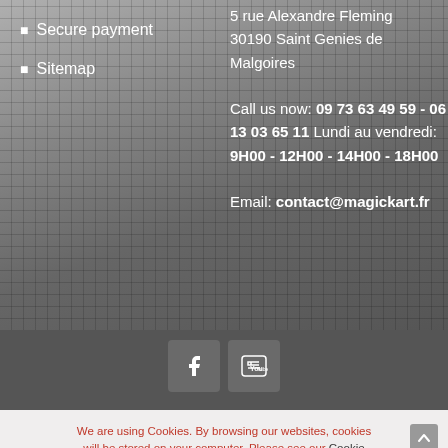Secure payment
Sitemap
5 rue Alexandre Fleming
30190 Saint Genies de Malgoires
Call us now: 09 73 63 49 59 - 06 13 03 65 11 Lundi au vendredi: 9H00 - 12H00 - 14H00 - 18H00
Email: contact@magickart.fr
We are using Cookies. By browsing our websites, cookies will be stored on your computer. Please see our Cookie Policy.
ACCEPT